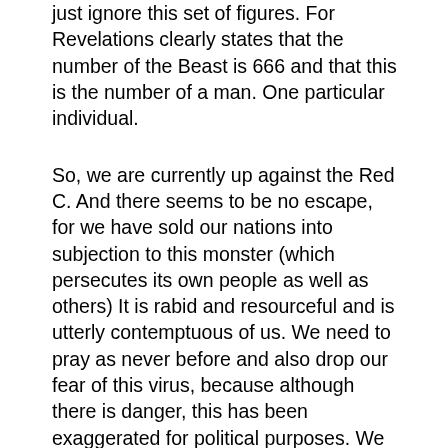just ignore this set of figures. For Revelations clearly states that the number of the Beast is 666 and that this is the number of a man. One particular individual.
So, we are currently up against the Red C. And there seems to be no escape, for we have sold our nations into subjection to this monster (which persecutes its own people as well as others) It is rabid and resourceful and is utterly contemptuous of us. We need to pray as never before and also drop our fear of this virus, because although there is danger, this has been exaggerated for political purposes. We must strengthen our FAITH and open our eyes and minds to TRUST absolutely to our God. And dare I say it, not feel we have to participate in the globally orchestrated activity of all clapping